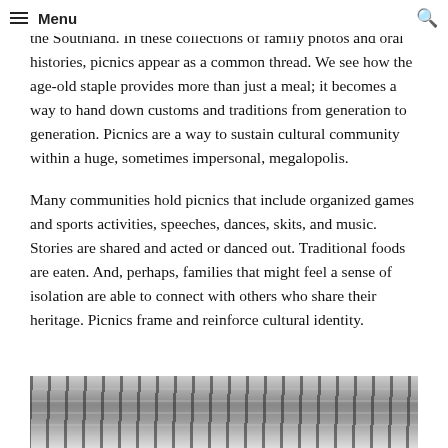Menu
the Southland. In these collections of family photos and oral histories, picnics appear as a common thread. We see how the age-old staple provides more than just a meal; it becomes a way to hand down customs and traditions from generation to generation. Picnics are a way to sustain cultural community within a huge, sometimes impersonal, megalopolis.
Many communities hold picnics that include organized games and sports activities, speeches, dances, skits, and music. Stories are shared and acted or danced out. Traditional foods are eaten. And, perhaps, families that might feel a sense of isolation are able to connect with others who share their heritage. Picnics frame and reinforce cultural identity.
[Figure (photo): Black and white photograph of trees in an outdoor setting, partially visible at the bottom of the page.]